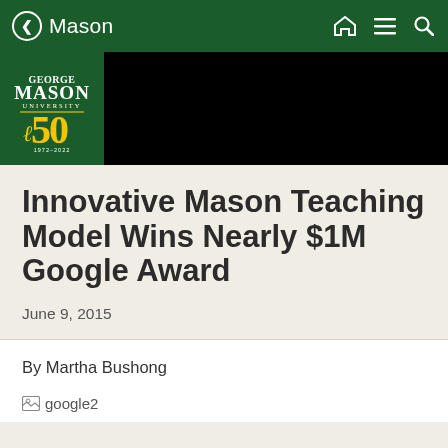Mason
[Figure (logo): George Mason University 50th anniversary logo on green background]
Innovative Mason Teaching Model Wins Nearly $1M Google Award
June 9, 2015
By Martha Bushong
[Figure (photo): Broken image placeholder labeled google2]